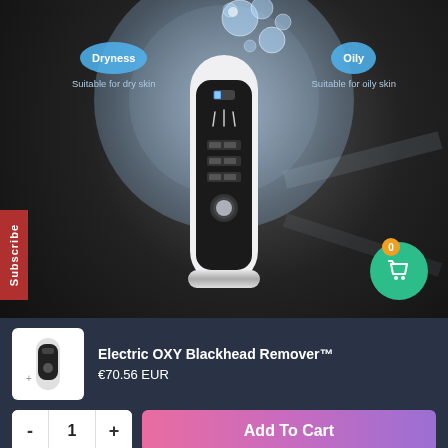[Figure (photo): Product photo of Electric OXY Blackhead Remover device on dark background with skin type indicators: 'Dryness - Suitable for dry skin' on the left and 'Oily - Suitable for oily skin' on the right, with water bubble graphics above the device.]
Dryness
Suitable for dry skin
Oily
Suitable for oily skin
Subscribe
Electric OXY Blackhead Remover™
€70.56 EUR
- 1 +
Add To Cart